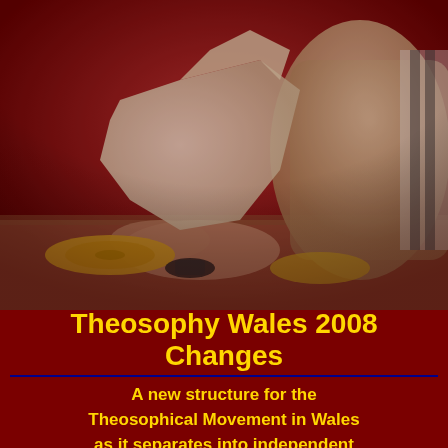[Figure (photo): A blurry photograph showing a person's hands holding a piece of torn paper or parchment, with what appears to be a yellow record or disc visible on a table. The background is dark red/maroon. The image occupies the top portion of the page.]
Theosophy Wales 2008 Changes
A new structure for the Theosophical Movement in Wales as it separates into independent groups that run do their own show